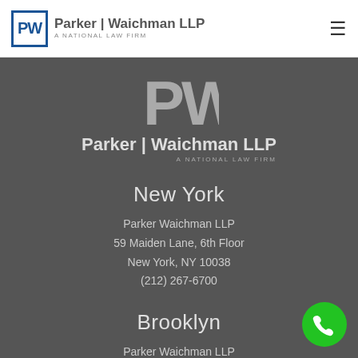[Figure (logo): Parker Waichman LLP logo in navigation bar — blue PW monogram in box with firm name]
[Figure (logo): Parker Waichman LLP large logo on dark background — white PW letters with firm name below]
New York
Parker Waichman LLP
59 Maiden Lane, 6th Floor
New York, NY 10038
(212) 267-6700
Brooklyn
Parker Waichman LLP
300 Cadman Plaza West